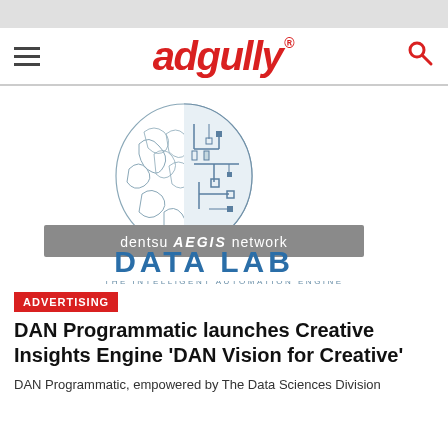[Figure (screenshot): Adgully website screenshot showing navigation bar with hamburger menu, Adgully logo in red italic script with registered trademark symbol, and search icon]
[Figure (logo): Dentsu Aegis Network Data Lab - The Intelligent Automation Engine logo with brain illustration split between organic and circuit/mechanical halves]
ADVERTISING
DAN Programmatic launches Creative Insights Engine 'DAN Vision for Creative'
DAN Programmatic, empowered by The Data Sciences Division